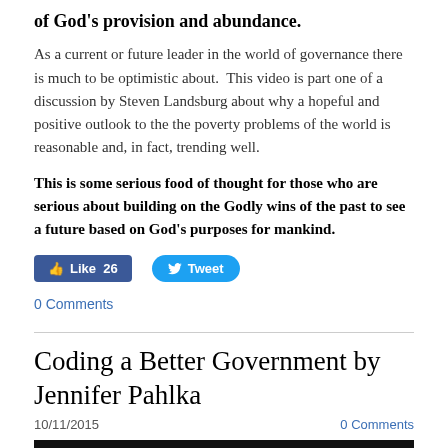of God's provision and abundance.
As a current or future leader in the world of governance there is much to be optimistic about.  This video is part one of a discussion by Steven Landsburg about why a hopeful and positive outlook to the the poverty problems of the world is reasonable and, in fact, trending well.
This is some serious food of thought for those who are serious about building on the Godly wins of the past to see a future based on God's purposes for mankind.
[Figure (other): Facebook Like button showing 26 likes and a Twitter Tweet button]
0 Comments
Coding a Better Government by Jennifer Pahlka
10/11/2015    0 Comments
[Figure (other): Dark image/banner bar at bottom of page]